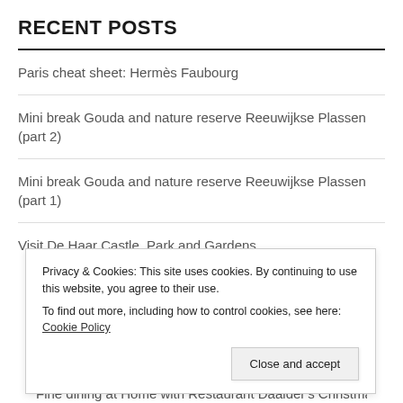RECENT POSTS
Paris cheat sheet: Hermès Faubourg
Mini break Gouda and nature reserve Reeuwijkse Plassen (part 2)
Mini break Gouda and nature reserve Reeuwijkse Plassen (part 1)
Visit De Haar Castle, Park and Gardens
Privacy & Cookies: This site uses cookies. By continuing to use this website, you agree to their use. To find out more, including how to control cookies, see here: Cookie Policy
Fine dining at Home with Restaurant Daalder's Christmas